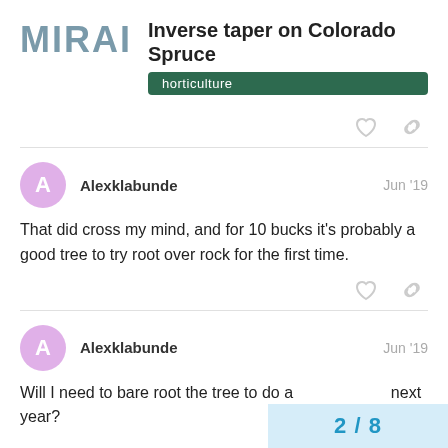MIRAI
Inverse taper on Colorado Spruce
horticulture
Alexklabunde  Jun '19
That did cross my mind, and for 10 bucks it's probably a good tree to try root over rock for the first time.
Alexklabunde  Jun '19
Will I need to bare root the tree to do a  next year?
2 / 8